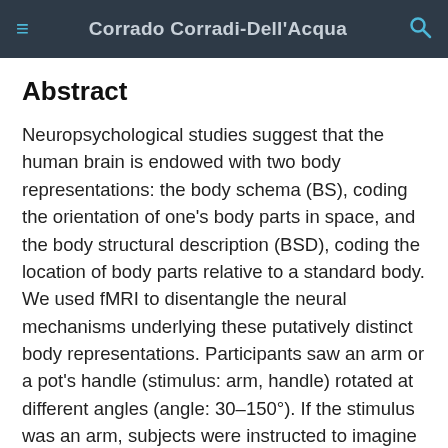Corrado Corradi-Dell'Acqua
Abstract
Neuropsychological studies suggest that the human brain is endowed with two body representations: the body schema (BS), coding the orientation of one's body parts in space, and the body structural description (BSD), coding the location of body parts relative to a standard body. We used fMRI to disentangle the neural mechanisms underlying these putatively distinct body representations. Participants saw an arm or a pot's handle (stimulus: arm, handle) rotated at different angles (angle: 30–150°). If the stimulus was an arm, subjects were instructed to imagine (1) rotating their own arm until it matched the stimulus orientation (comparing the seen arm to their own) or (2) seeing the stimulus moving toward its